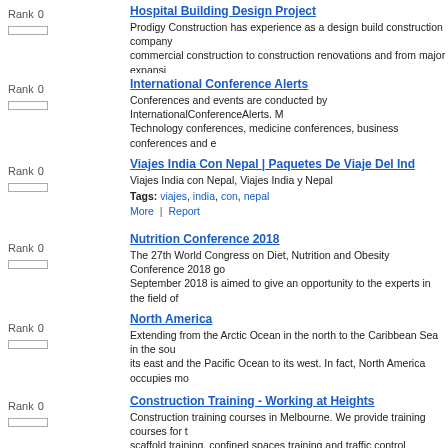Hospital Building Design Project — Prodigy Construction has experience as a design build construction company commercial construction to construction renovations and from major expansi...
International Conference Alerts — Conferences and events are conducted by InternationalConferenceAlerts. Technology conferences, medicine conferences, business conferences and e...
Viajes India Con Nepal | Paquetes De Viaje Del Ind — Viajes India con Nepal, Viajes India y Nepal
Nutrition Conference 2018 — The 27th World Congress on Diet, Nutrition and Obesity Conference 2018 go... September 2018 is aimed to give an opportunity to the experts in the field of...
North America — Extending from the Arctic Ocean in the north to the Caribbean Sea in the sou... its east and the Pacific Ocean to its west. In fact, North America occupies mo...
Construction Training - Working at Heights — Construction training courses in Melbourne. We provide training courses for t... scaffold training, confined spaces training and traffic control courses, in Moo...